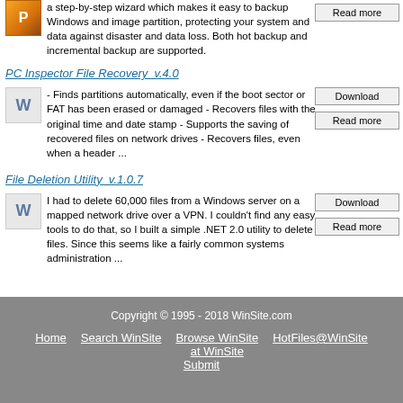a step-by-step wizard which makes it easy to backup Windows and image partition, protecting your system and data against disaster and data loss. Both hot backup and incremental backup are supported.
PC Inspector File Recovery  v.4.0
- Finds partitions automatically, even if the boot sector or FAT has been erased or damaged - Recovers files with the original time and date stamp - Supports the saving of recovered files on network drives - Recovers files, even when a header ...
File Deletion Utility  v.1.0.7
I had to delete 60,000 files from a Windows server on a mapped network drive over a VPN. I couldn't find any easy tools to do that, so I built a simple .NET 2.0 utility to delete files. Since this seems like a fairly common systems administration ...
Copyright © 1995 - 2018 WinSite.com  Home   Search WinSite   Browse WinSite at WinSite   HotFiles@WinSite   Submit